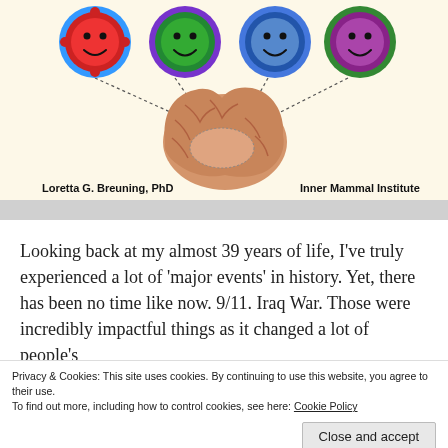[Figure (illustration): Book cover illustration showing four colorful smiley faces (red, green, blue, purple) connected by dotted lines to a brain image in the center. Author name 'Loretta G. Breuning, PhD' on left and 'Inner Mammal Institute' on right at bottom.]
Looking back at my almost 39 years of life, I've truly experienced a lot of 'major events' in history. Yet, there has been no time like now. 9/11. Iraq War. Those were incredibly impactful things as it changed a lot of people's
Privacy & Cookies: This site uses cookies. By continuing to use this website, you agree to their use.
To find out more, including how to control cookies, see here: Cookie Policy
Close and accept